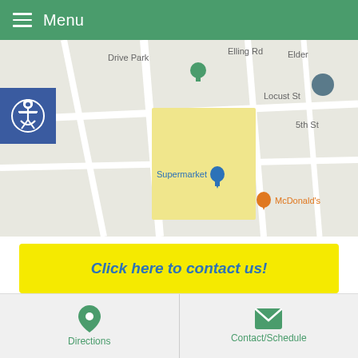Menu
[Figure (map): Google Maps street map showing Supermarket, McDonald's, Drive Park, Locust St, 5th St area with location pins]
Click here to contact us!
| Monday - Friday | 9am to 5pm |
| --- | --- |
[Figure (photo): Partially visible image with text 'Purchase professional grade']
Directions | Contact/Schedule